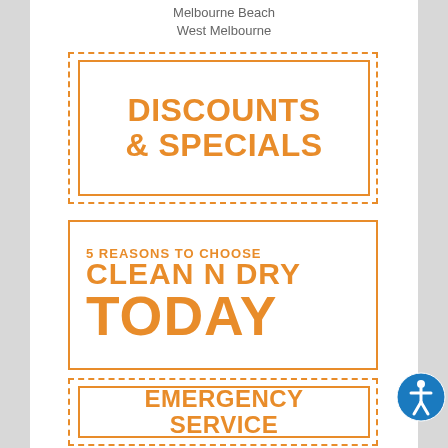Melbourne Beach
West Melbourne
DISCOUNTS & SPECIALS
5 REASONS TO CHOOSE CLEAN N DRY TODAY
EMERGENCY SERVICE
[Figure (logo): Accessibility icon — circular blue button with white human figure]